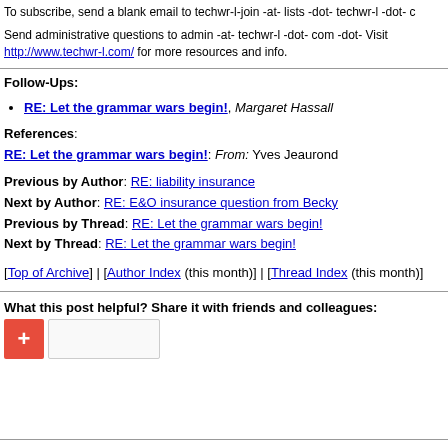To subscribe, send a blank email to techwr-l-join -at- lists -dot- techwr-l -dot- c
Send administrative questions to admin -at- techwr-l -dot- com -dot- Visit http://www.techwr-l.com/ for more resources and info.
Follow-Ups:
RE: Let the grammar wars begin!, Margaret Hassall
References:
RE: Let the grammar wars begin!: From: Yves Jeaurond
Previous by Author: RE: liability insurance
Next by Author: RE: E&O insurance question from Becky
Previous by Thread: RE: Let the grammar wars begin!
Next by Thread: RE: Let the grammar wars begin!
[Top of Archive] | [Author Index (this month)] | [Thread Index (this month)]
What this post helpful? Share it with friends and colleagues: